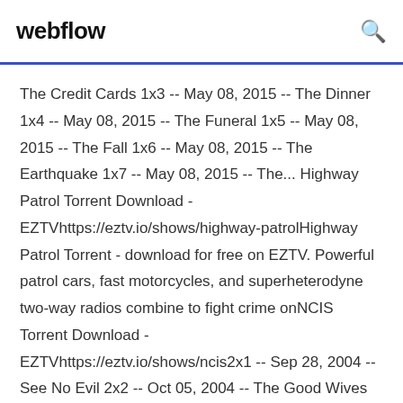webflow
The Credit Cards 1x3 -- May 08, 2015 -- The Dinner 1x4 -- May 08, 2015 -- The Funeral 1x5 -- May 08, 2015 -- The Fall 1x6 -- May 08, 2015 -- The Earthquake 1x7 -- May 08, 2015 -- The... Highway Patrol Torrent Download - EZTVhttps://eztv.io/shows/highway-patrolHighway Patrol Torrent - download for free on EZTV. Powerful patrol cars, fast motorcycles, and superheterodyne two-way radios combine to fight crime onNCIS Torrent Download - EZTVhttps://eztv.io/shows/ncis2x1 -- Sep 28, 2004 -- See No Evil 2x2 -- Oct 05, 2004 -- The Good Wives Club 2x3 -- Oct 12, 2004 -- Vanished 2x4 -- Oct 19, 2004 -- Lt.Saturday Night Live Torrent Download -